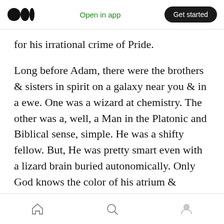Medium logo | Open in app | Get started
for his irrational crime of Pride.
Long before Adam, there were the brothers & sisters in spirit on a galaxy near you & in a ewe. One was a wizard at chemistry. The other was a, well, a Man in the Platonic and Biblical sense, simple. He was a shifty fellow. But, He was pretty smart even with a lizard brain buried autonomically. Only God knows the color of his atrium & ventricles. Like male pups, the brothers wanted to know who was the fittest among the two. So the war began between Men & Mages.
Home | Search | Profile